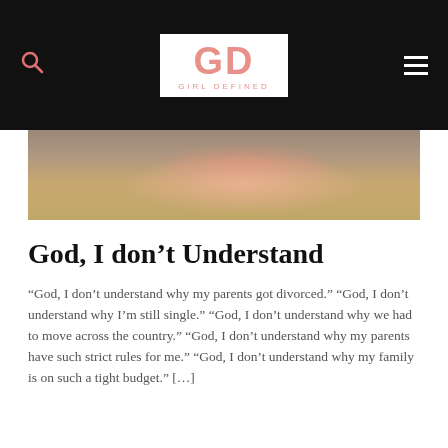GD GIRL DEFINED
[Figure (photo): Close-up photo of a pink rose on a textured background]
God, I don’t Understand
“God, I don’t understand why my parents got divorced.” “God, I don’t understand why I’m still single.” “God, I don’t understand why we had to move across the country.” “God, I don’t understand why my parents have such strict rules for me.” “God, I don’t understand why my family is on such a tight budget.” […]